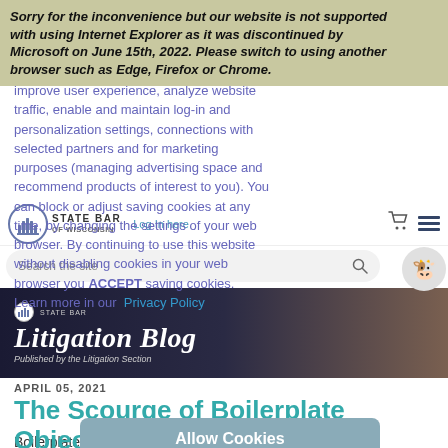Sorry for the inconvenience but our website is not supported with using Internet Explorer as it was discontinued by Microsoft on June 15th, 2022. Please switch to using another browser such as Edge, Firefox or Chrome.
We use cookies or similar technologies to improve user experience, analyze website traffic, enable and maintain log-in and personalization settings, connections with selected partners and for marketing purposes (managing advertising space and recommend products of interest to you). You can block or adjust saving cookies at any time, by changing the settings of your web browser. By continuing to use this website without disabling cookies in your web browser you ACCEPT saving cookies. Learn more in our Privacy Policy
[Figure (logo): State Bar of Wisconsin logo — column icon in circle with text]
Log In here
Search the site
[Figure (illustration): Cow icon in circle]
[Figure (illustration): Litigation Blog banner image with gavel background. Published by the Litigation Section. State Bar logo.]
APRIL 05, 2021
The Scourge of Boilerplate Objections
Allow Cookies
Boilerplate objections in response to written